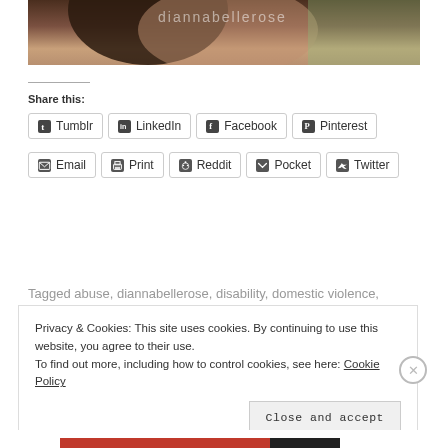[Figure (photo): Partial view of a person, dark hair, cropped image at top of page]
Share this:
Tumblr
LinkedIn
Facebook
Pinterest
Email
Print
Reddit
Pocket
Twitter
Tagged abuse, diannabellerose, disability, domestic violence,
Privacy & Cookies: This site uses cookies. By continuing to use this website, you agree to their use.
To find out more, including how to control cookies, see here: Cookie Policy
Close and accept